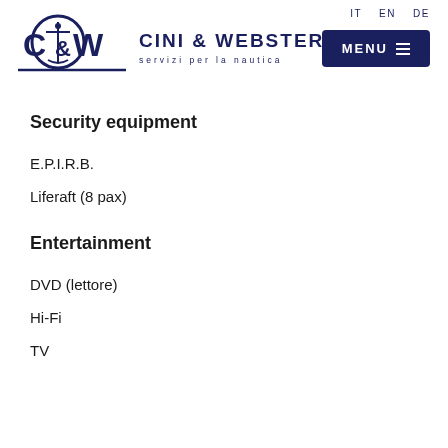Cini & Webster - servizi per la nautica | IT EN DE | MENU
Security equipment
E.P.I.R.B.
Liferaft (8 pax)
Entertainment
DVD (lettore)
Hi-Fi
TV